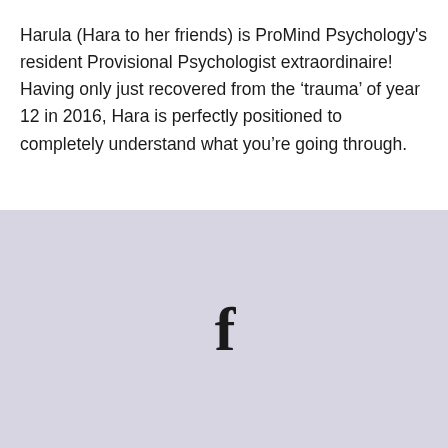Harula (Hara to her friends) is ProMind Psychology's resident Provisional Psychologist extraordinaire!  Having only just recovered from the 'trauma' of year 12 in 2016, Hara is perfectly positioned to completely understand what you're going through.
[Figure (logo): Facebook 'f' logo icon in black, centered in a lavender/light purple background section]